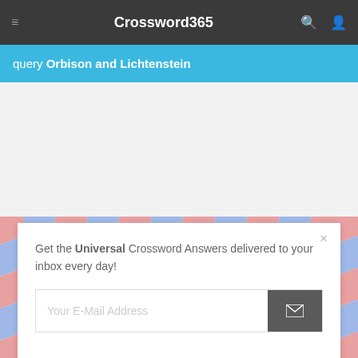Crossword365
query Orbison and Lichtenstein
Get the Universal Crossword Answers delivered to your inbox every day!
Your E-Mail Address